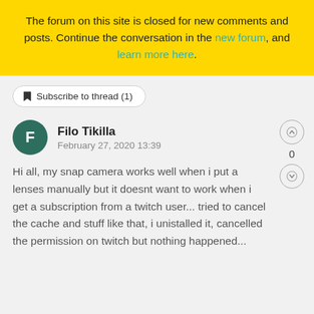The forum on this site is closed for new comments and posts. Continue the conversation in the new forum, and learn more here.
Subscribe to thread (1)
Filo Tikilla
February 27, 2020 13:39
Hi all, my snap camera works well when i put a lenses manually but it doesnt want to work when i get a subscription from a twitch user... tried to cancel the cache and stuff like that, i unistalled it, cancelled the permission on twitch but nothing happened...